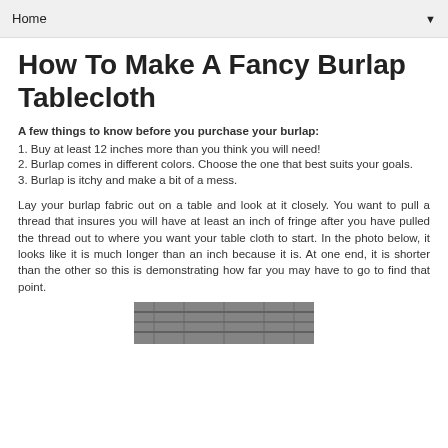Home ▼
How To Make A Fancy Burlap Tablecloth
A few things to know before you purchase your burlap:
1. Buy at least 12 inches more than you think you will need!
2. Burlap comes in different colors. Choose the one that best suits your goals.
3. Burlap is itchy and make a bit of a mess.
Lay your burlap fabric out on a table and look at it closely. You want to pull a thread that insures you will have at least an inch of fringe after you have pulled the thread out to where you want your table cloth to start. In the photo below, it looks like it is much longer than an inch because it is. At one end, it is shorter than the other so this is demonstrating how far you may have to go to find that point.
[Figure (photo): Photo of burlap fabric showing fringe threads being pulled]